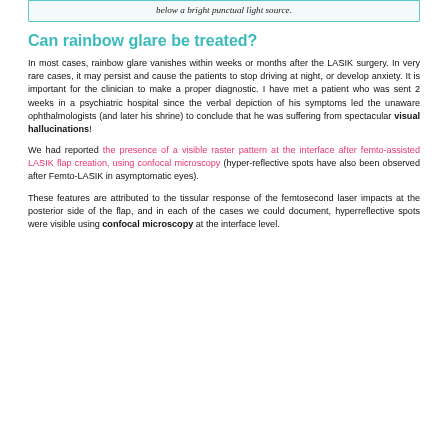below a bright punctual light source.
Can rainbow glare be treated?
In most cases, rainbow glare vanishes within weeks or months after the LASIK surgery. In very rare cases, it may persist and cause the patients to stop driving at night, or develop anxiety. It is important for the clinician to make a proper diagnostic. I have met a patient who was sent 2 weeks in a psychiatric hospital since the verbal depiction of his symptoms led the unaware ophthalmologists (and later his shrine) to conclude that he was suffering from spectacular visual hallucinations!
We had reported the presence of a visible raster pattern at the interface after femto-assisted LASIK flap creation, using confocal microscopy (hyper-reflective spots have also been observed after Femto-LASIK in asymptomatic eyes).
These features are attributed to the tissular response of the femtosecond laser impacts at the posterior side of the flap, and in each of the cases we could document, hyperreflective spots were visible using confocal microscopy at the interface level.